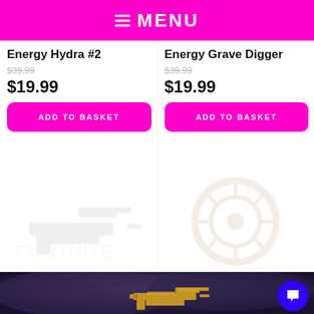≡ MENU
Energy Hydra #2
$39.99
$19.99
ADD TO BASKET
Energy Grave Digger
$39.99
$19.99
ADD TO BASKET
[Figure (illustration): Faded Fortnite weapon/gun illustration watermark in left product column]
[Figure (illustration): Faded Fortnite wheel/vehicle part illustration watermark in right product column]
[Figure (photo): Dark stormy sky background with a Fortnite assault rifle weapon floating, and a partially visible Fortnite logo text at the bottom]